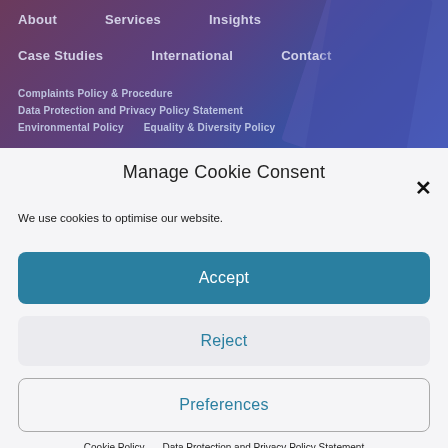About   Services   Insights
Case Studies   International   Contact
Complaints Policy & Procedure
Data Protection and Privacy Policy Statement
Environmental Policy   Equality & Diversity Policy
Manage Cookie Consent
We use cookies to optimise our website.
Accept
Reject
Preferences
Cookie Policy   Data Protection and Privacy Policy Statement